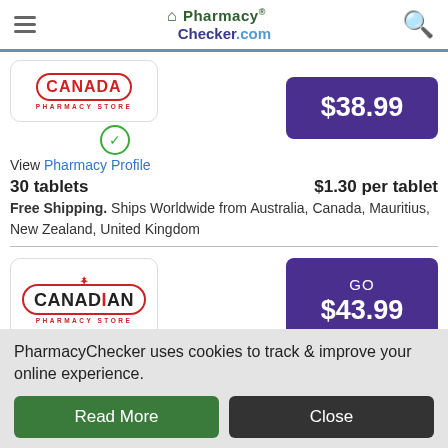PharmacyChecker.com
[Figure (logo): Canadian Pharmacy Store logo (partially cropped at top), red oval border with text, with green checkmark badge]
View Pharmacy Profile
30 tablets   $1.30 per tablet
Free Shipping. Ships Worldwide from Australia, Canada, Mauritius, New Zealand, United Kingdom
[Figure (logo): Canadian Pharmacy Store logo with maple leaf, red oval border, text CANADIAN PHARMACY STORE, with green checkmark badge]
View Pharmacy Profile
PharmacyChecker uses cookies to track & improve your online experience.